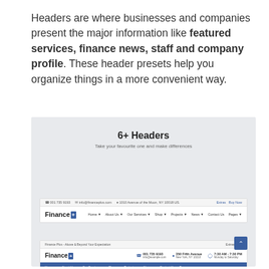Headers are where businesses and companies present the major information like featured services, finance news, staff and company profile. These header presets help you organize things in a more convenient way.
[Figure (screenshot): Screenshot of a website builder interface showing '6+ Headers' section with subtitle 'Take your favourite one and make differences', and two example Finance+ website headers with navigation menus. The first header shows a simple top bar with contact info and a main nav. The second shows a header with phone number, address, and hours info, plus a blue navigation bar.]